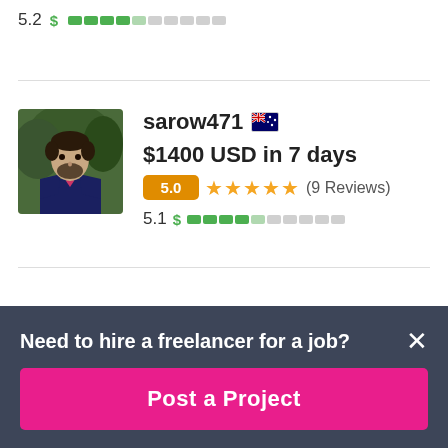5.2 $ [bar indicator - 4 filled, 6 empty]
[Figure (photo): Profile photo of freelancer sarow471, a man in a suit with a beard]
sarow471 🇦🇺
$1400 USD in 7 days
5.0 ★★★★★ (9 Reviews)
5.1 $ [bar indicator - 4 filled, 6 empty]
Need to hire a freelancer for a job?
Post a Project